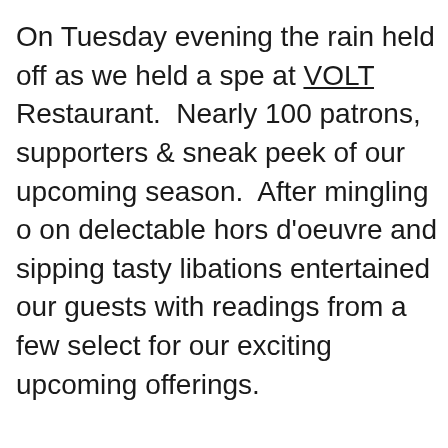On Tuesday evening the rain held off as we held a special event at VOLT Restaurant. Nearly 100 patrons, supporters & friends got a sneak peek of our upcoming season. After mingling over and nibbling on delectable hors d'oeuvre and sipping tasty libations, our actors entertained our guests with readings from a few select scenes. Thank you for our exciting upcoming offerings.